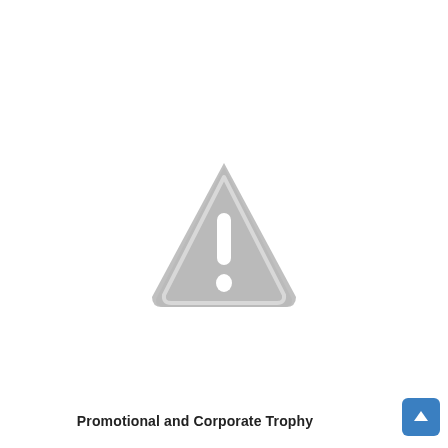[Figure (illustration): A gray warning/caution triangle icon with a white exclamation mark inside, rounded corners on the triangle, centered on the page.]
Promotional and Corporate Trophy